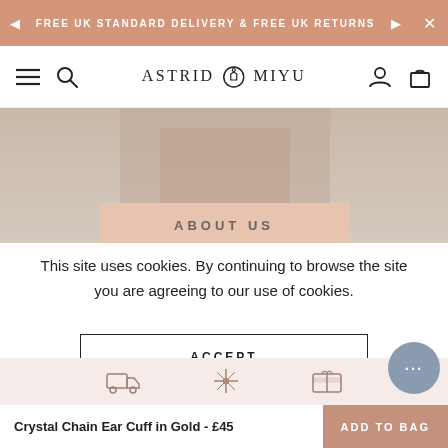FREE UK STANDARD DELIVERY & FREE UK RETURNS
[Figure (screenshot): Astrid & Miyu website navigation bar with hamburger menu, search icon, logo, user icon, and bag icon]
[Figure (photo): Hero image showing a person wearing jewelry with 'ABOUT US' label overlay]
This site uses cookies. By continuing to browse the site you are agreeing to our use of cookies.
ACCEPT
More info
Crystal Chain Ear Cuff in Gold - £45   ADD TO BAG